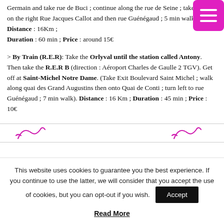Germain and take rue de Buci ; continue along the rue de Seine ; take the 1st on the right Rue Jacques Callot and then rue Guénégaud ; 5 min walk). Distance : 16Km ; Duration : 60 min ; Price : around 15€
> By Train (R.E.R): Take the Orlyval until the station called Antony. Then take the R.E.R B (direction : Aéroport Charles de Gaulle 2 TGV). Get off at Saint-Michel Notre Dame. (Take Exit Boulevard Saint Michel ; walk along quai des Grand Augustins then onto Quai de Conti ; turn left to rue Guénégaud ; 7 min walk). Distance : 16 Km ; Duration : 45 min ; Price : 10€
[Figure (logo): Two SNCF-style decorative logos in magenta/pink on a dividing line]
This website uses cookies to guarantee you the best experience. If you continue to use the latter, we will consider that you accept the use of cookies, but you can opt-out if you wish. Accept
Read More